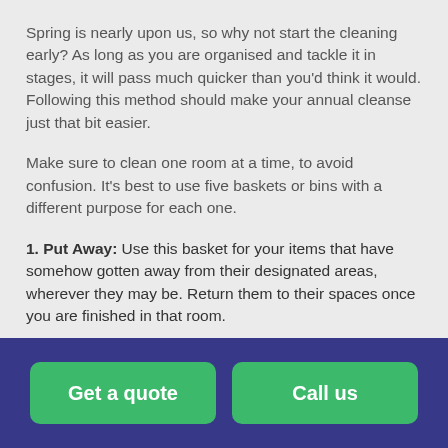Spring is nearly upon us, so why not start the cleaning early? As long as you are organised and tackle it in stages, it will pass much quicker than you'd think it would. Following this method should make your annual cleanse just that bit easier.
Make sure to clean one room at a time, to avoid confusion. It's best to use five baskets or bins with a different purpose for each one.
1. Put Away: Use this basket for your items that have somehow gotten away from their designated areas, wherever they may be. Return them to their spaces once you are finished in that room.
Get a quote  |  Call us